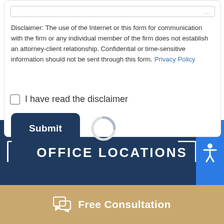Disclaimer: The use of the Internet or this form for communication with the firm or any individual member of the firm does not establish an attorney-client relationship. Confidential or time-sensitive information should not be sent through this form. Privacy Policy
I have read the disclaimer
[Figure (screenshot): Submit button (dark navy rounded rectangle) with a spinner arc loading indicator to its right]
OFFICE LOCATIONS
Free Consultation